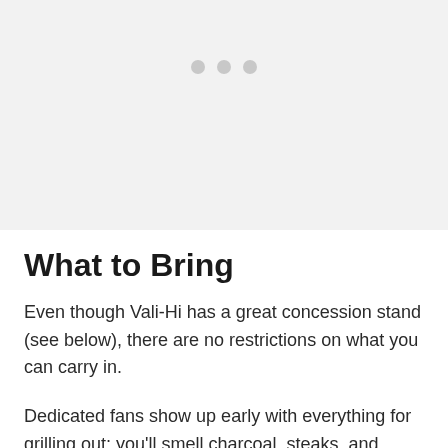[Figure (photo): Image placeholder with three grey dots indicating a loading or carousel image area]
What to Bring
Even though Vali-Hi has a great concession stand (see below), there are no restrictions on what you can carry in.
Dedicated fans show up early with everything for grilling out; you'll smell charcoal, steaks, and